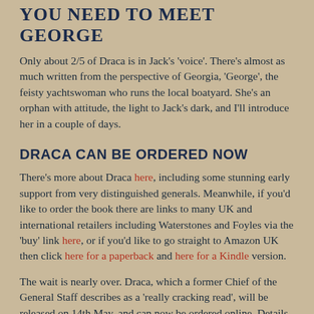YOU NEED TO MEET GEORGE
Only about 2/5 of Draca is in Jack's 'voice'. There's almost as much written from the perspective of Georgia, 'George', the feisty yachtswoman who runs the local boatyard. She's an orphan with attitude, the light to Jack's dark, and I'll introduce her in a couple of days.
DRACA CAN BE ORDERED NOW
There's more about Draca here, including some stunning early support from very distinguished generals. Meanwhile, if you'd like to order the book there are links to many UK and international retailers including Waterstones and Foyles via the 'buy' link here, or if you'd like to go straight to Amazon UK then click here for a paperback and here for a Kindle version.
The wait is nearly over. Draca, which a former Chief of the General Staff describes as a 'really cracking read', will be released on 14th May, and can now be ordered online. Details below.